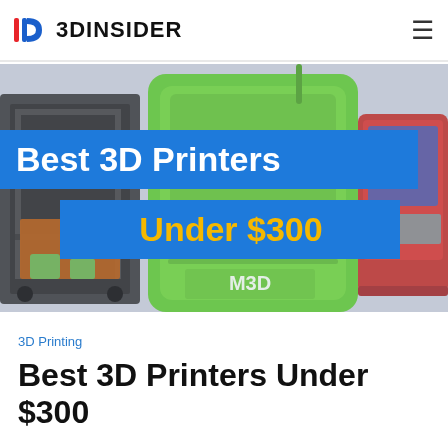3DINSIDER
[Figure (photo): Hero image showing multiple 3D printers (black frame printer on left, green M3D printer in center, red printer on right) with blue overlay banners reading 'Best 3D Printers' and 'Under $300']
3D Printing
Best 3D Printers Under $300